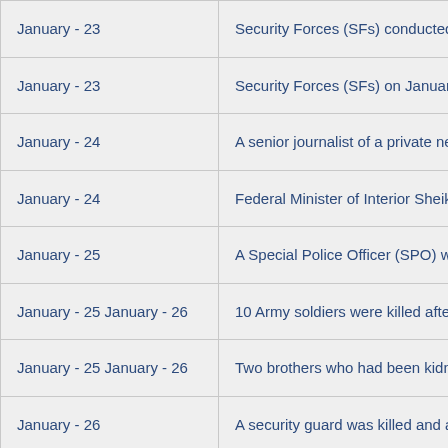| Date | Event |
| --- | --- |
| January - 23 | Security Forces (SFs) conducted an |
| January - 23 | Security Forces (SFs) on January 23 |
| January - 24 | A senior journalist of a private news |
| January - 24 | Federal Minister of Interior Sheikh Ra |
| January - 25 | A Special Police Officer (SPO) was k |
| January - 25 January - 26 | 10 Army soldiers were killed after ter |
| January - 25 January - 26 | Two brothers who had been kidnapp |
| January - 26 | A security guard was killed and a sup |